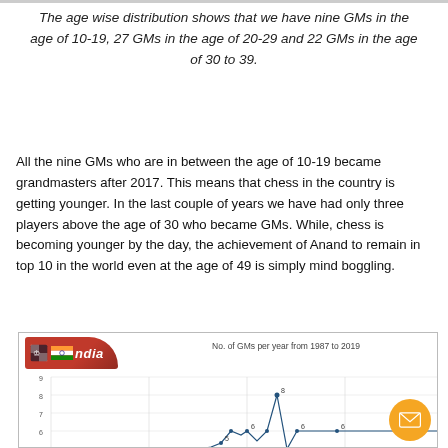The age wise distribution shows that we have nine GMs in the age of 10-19, 27 GMs in the age of 20-29 and 22 GMs in the age of 30 to 39.
All the nine GMs who are in between the age of 10-19 became grandmasters after 2017. This means that chess in the country is getting younger. In the last couple of years we have had only three players above the age of 30 who became GMs. While, chess is becoming younger by the day, the achievement of Anand to remain in top 10 in the world even at the age of 49 is simply mind boggling.
[Figure (line-chart): Line chart showing number of GMs per year from 1987 to 2019, with a peak of 8 visible near 2012-2013 and values around 6 in later years]